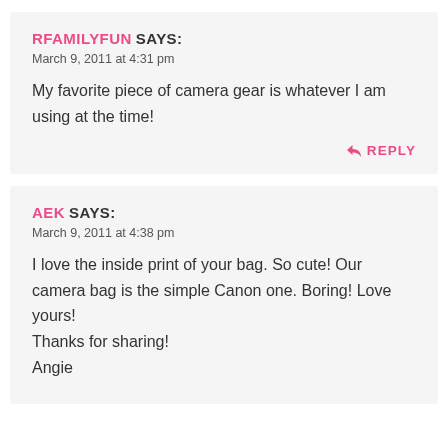RFAMILYFUN SAYS:
March 9, 2011 at 4:31 pm

My favorite piece of camera gear is whatever I am using at the time!

REPLY
AEK SAYS:
March 9, 2011 at 4:38 pm

I love the inside print of your bag. So cute! Our camera bag is the simple Canon one. Boring! Love yours!
Thanks for sharing!
Angie